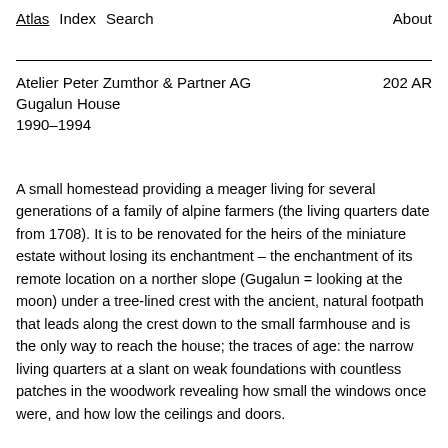Atlas  Index  Search  About
Atelier Peter Zumthor & Partner AG  202 AR
Gugalun House
1990–1994
A small homestead providing a meager living for several generations of a family of alpine farmers (the living quarters date from 1708). It is to be renovated for the heirs of the miniature estate without losing its enchantment – the enchantment of its remote location on a norther slope (Gugalun = looking at the moon) under a tree-lined crest with the ancient, natural footpath that leads along the crest down to the small farmhouse and is the only way to reach the house; the traces of age: the narrow living quarters at a slant on weak foundations with countless patches in the woodwork revealing how small the windows once were, and how low the ceilings and doors.
The design respects these things. Under a new, shared roof,